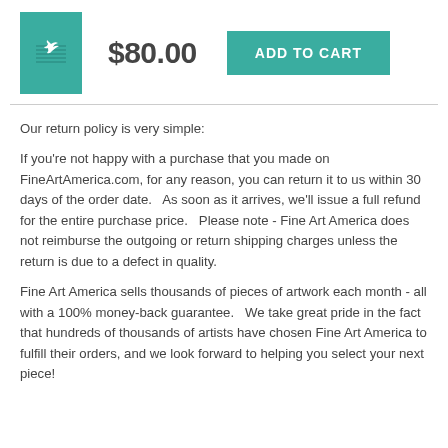[Figure (illustration): Book cover thumbnail with teal background and white dove graphic]
$80.00
ADD TO CART
Our return policy is very simple:

If you're not happy with a purchase that you made on FineArtAmerica.com, for any reason, you can return it to us within 30 days of the order date.   As soon as it arrives, we'll issue a full refund for the entire purchase price.   Please note - Fine Art America does not reimburse the outgoing or return shipping charges unless the return is due to a defect in quality.

Fine Art America sells thousands of pieces of artwork each month - all with a 100% money-back guarantee.   We take great pride in the fact that hundreds of thousands of artists have chosen Fine Art America to fulfill their orders, and we look forward to helping you select your next piece!